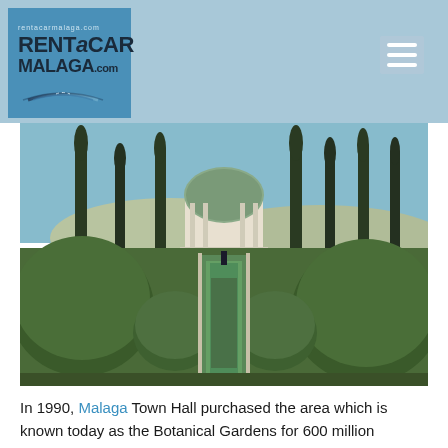RENT a CAR MALAGA.com
[Figure (photo): Botanical garden photo showing large round topiary hedges flanking a central water channel leading to a domed gazebo/pavilion, with tall cypress trees in the background and hills beyond.]
In 1990, Malaga Town Hall purchased the area which is known today as the Botanical Gardens for 600 million pesetas (3.606.073€) from the Echevarria-Echevarrieta family. Four years later the gardens were opened to the public for the first time.